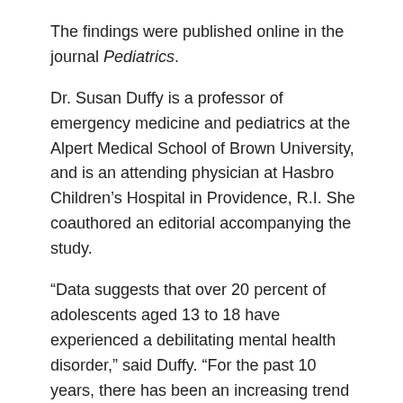The findings were published online in the journal Pediatrics.
Dr. Susan Duffy is a professor of emergency medicine and pediatrics at the Alpert Medical School of Brown University, and is an attending physician at Hasbro Children's Hospital in Providence, R.I. She coauthored an editorial accompanying the study.
“Data suggests that over 20 percent of adolescents aged 13 to 18 have experienced a debilitating mental health disorder,” said Duffy. “For the past 10 years, there has been an increasing trend in children’s, youth and young adult mental health visits, and increasing recognition that the resources do not meet the need for care.”
Source: HealthDay
https://consumer.healthday.com/kids-health-information-23/adolescents-and-teen-health-news-719/more-u-s-teens-kids-seeking-mental-health-care-in-ers-743964.html